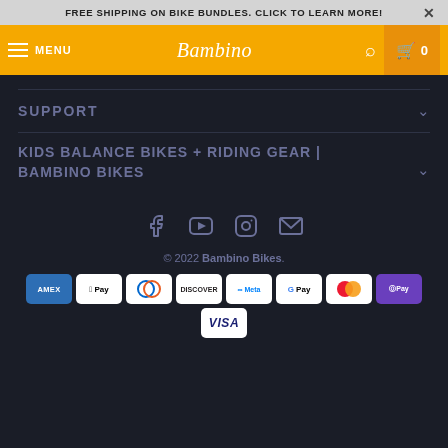FREE SHIPPING ON BIKE BUNDLES. CLICK TO LEARN MORE!
MENU | Bambino Bikes | 0
SUPPORT
KIDS BALANCE BIKES + RIDING GEAR | BAMBINO BIKES
[Figure (infographic): Social media icons: Facebook, YouTube, Instagram, Email]
© 2022 Bambino Bikes.
[Figure (infographic): Payment method logos: AMEX, Apple Pay, Diners Club, Discover, Meta Pay, Google Pay, Mastercard, Shopify Pay, Visa]